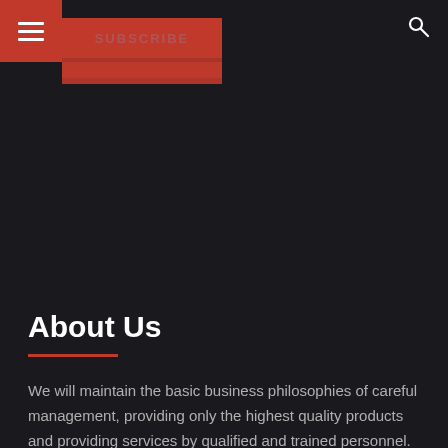≡ SUBSCRIBE 🔍
About Us
We will maintain the basic business philosophies of careful management, providing only the highest quality products and providing services by qualified and trained personnel. It is our stated goal to always perform services correctly the first time.